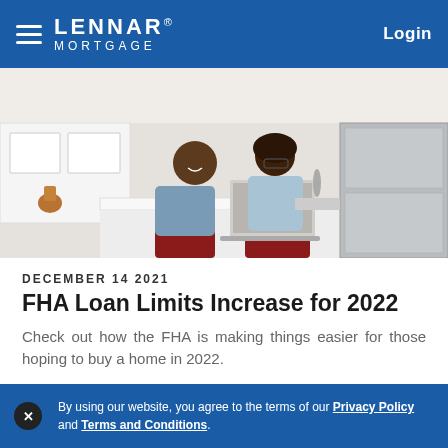LENNAR MORTGAGE — Login
[Figure (photo): A man and a woman smiling and looking at a laptop on a white kitchen island countertop, with white cabinets, a copper kettle, and stainless steel appliances in the background.]
DECEMBER 14 2021
FHA Loan Limits Increase for 2022
Check out how the FHA is making things easier for those hoping to buy a home in 2022.
Read More
By using our website, you agree to the terms of our Privacy Policy and Terms and Conditions.